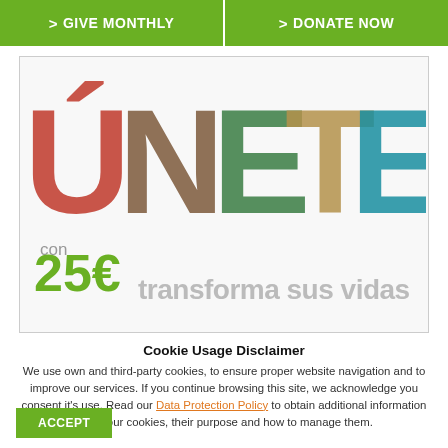> GIVE MONTHLY | > DONATE NOW
[Figure (illustration): ÚNETE campaign image with colorful letter collage showing 'ÚNETE con 25€ transforma sus vidas' — each letter filled with photographs of people and textures]
Cookie Usage Disclaimer
We use own and third-party cookies, to ensure proper website navigation and to improve our services. If you continue browsing this site, we acknowledge you consent it's use. Read our Data Protection Policy to obtain additional information about our cookies, their purpose and how to manage them.
ACCEPT